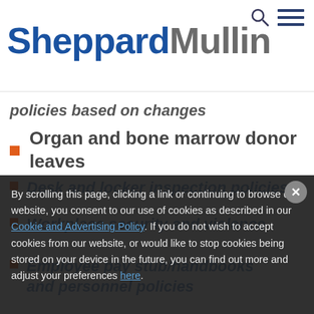[Figure (logo): Sheppard Mullin law firm logo with search and menu icons]
policies based on changes
Organ and bone marrow donor leaves
Desk and locker inspection policies
Workplace security and violence
Employee pay stub/handbooks and personnel policies
By scrolling this page, clicking a link or continuing to browse our website, you consent to our use of cookies as described in our Cookie and Advertising Policy. If you do not wish to accept cookies from our website, or would like to stop cookies being stored on your device in the future, you can find out more and adjust your preferences here.